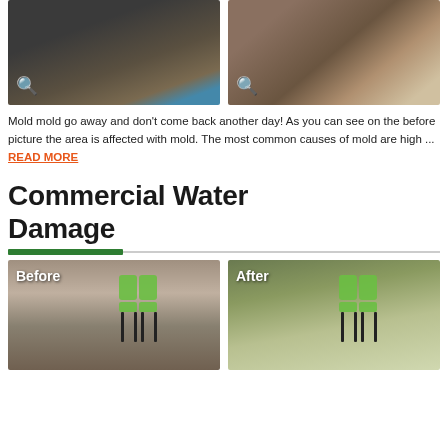[Figure (photo): Before photo of mold-damaged area with water stains and mold on walls and floor]
[Figure (photo): After photo of repaired area showing cleaned water-damaged walls with pipes visible]
Mold mold go away and don't come back another day! As you can see on the before picture the area is affected with mold. The most common causes of mold are high ... READ MORE
Commercial Water Damage
[Figure (photo): Before photo of commercial space with water-damaged flooring and green chairs]
[Figure (photo): After photo of commercial space with new flooring and green chairs restored]